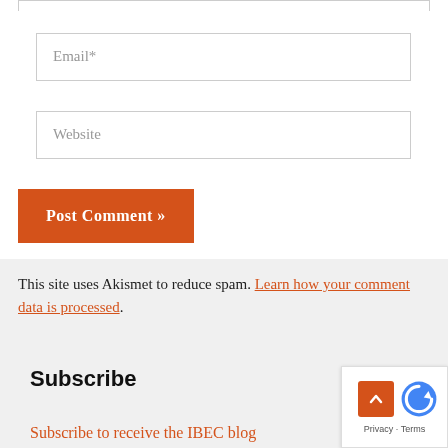[Figure (screenshot): Top portion of a web form showing a partial input box at top edge]
Email*
Website
Post Comment »
This site uses Akismet to reduce spam. Learn how your comment data is processed.
Subscribe
Subscribe to receive the IBEC blog as an email (IBEC Insights).